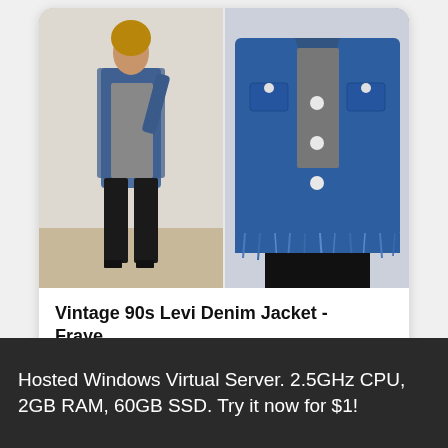[Figure (photo): Product listing card showing a vintage 90s Levi denim jacket. Left photo: full-body shot of a woman wearing the denim jacket with black skinny jeans and heels against a white brick wall. Right photo: close-up torso shot showing the frayed hem detail of the same blue denim jacket.]
Vintage 90s Levi Denim Jacket - Fraye...
Published by
Preslava Ivanova
Hosted Windows Virtual Server. 2.5GHz CPU, 2GB RAM, 60GB SSD. Try it now for $1!